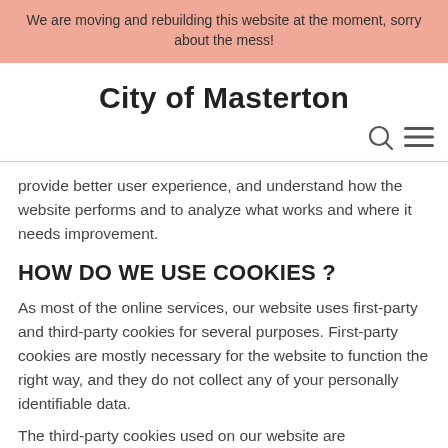We are moving and rebuilding this website at the moment, sorry about the mess!
City of Masterton
provide better user experience, and understand how the website performs and to analyze what works and where it needs improvement.
HOW DO WE USE COOKIES ?
As most of the online services, our website uses first-party and third-party cookies for several purposes. First-party cookies are mostly necessary for the website to function the right way, and they do not collect any of your personally identifiable data.
The third-party cookies used on our website are